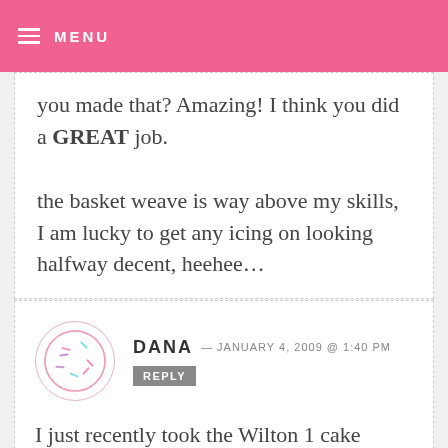MENU
you made that? Amazing! I think you did a GREAT job. the basket weave is way above my skills, I am lucky to get any icing on looking halfway decent, heehee...
DANA — JANUARY 4, 2009 @ 1:40 PM REPLY
I just recently took the Wilton 1 cake decorating class. Whew...Couldn't make a rose because my buttercream